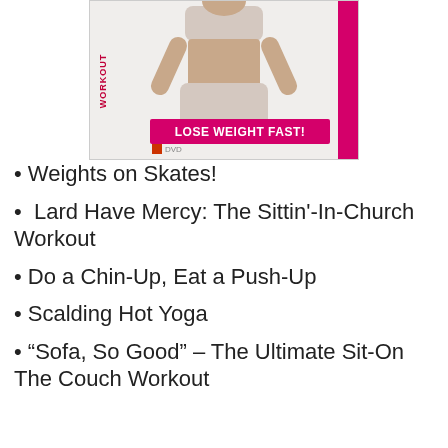[Figure (photo): DVD cover showing a woman in workout attire with text 'LOSE WEIGHT FAST!' in pink/magenta, with a vertical pink bar on the right side and 'DVD' label at the bottom left.]
Weights on Skates!
Lard Have Mercy: The Sittin'-In-Church Workout
Do a Chin-Up, Eat a Push-Up
Scalding Hot Yoga
“Sofa, So Good” – The Ultimate Sit-On The Couch Workout